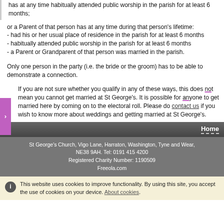has at any time habitually attended public worship in the parish for at least 6 months;
or a Parent of that person has at any time during that person's lifetime:
- had his or her usual place of residence in the parish for at least 6 months
- habitually attended public worship in the parish for at least 6 months
- a Parent or Grandparent of that person was married in the parish.
Only one person in the party (i.e. the bride or the groom) has to be able to demonstrate a connection.
If you are not sure whether you qualify in any of these ways, this does not mean you cannot get married at St George's. It is possible for anyone to get married here by coming on to the electoral roll. Please do contact us if you wish to know more about weddings and getting married at St George's.
Home
St George's Church, Vigo Lane, Harraton, Washington, Tyne and Wear, NE38 9AH. Tel: 0191 415 4200
Registered Charity Number: 1190509
Freeola.com
This website uses cookies to improve functionality. By using this site, you accept the use of cookies on your device. About cookies.